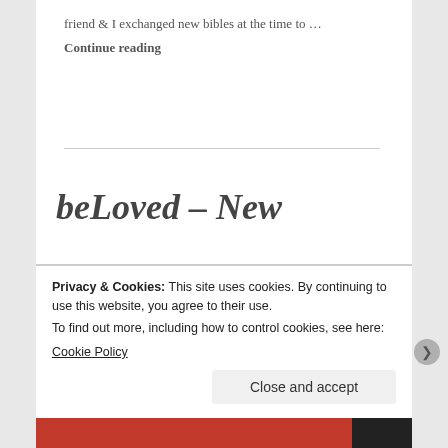friend & I exchanged new bibles at the time to …
Continue reading
beLoved – New
OCTOBER 3, 2014  ~  1 COMMENT
So, I'm doing this 31 Day Writing Challenge on the theme of Beloved. And, it's Friday, so that
Privacy & Cookies: This site uses cookies. By continuing to use this website, you agree to their use.
To find out more, including how to control cookies, see here:
Cookie Policy
Close and accept